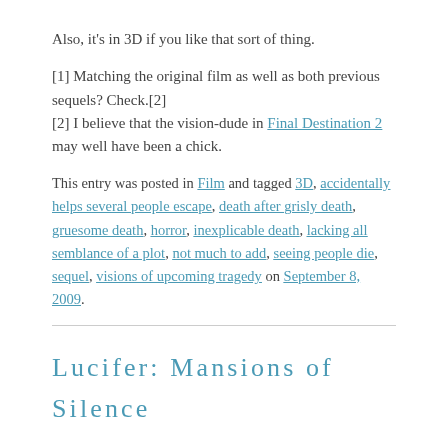Also, it's in 3D if you like that sort of thing.
[1] Matching the original film as well as both previous sequels? Check.[2]
[2] I believe that the vision-dude in Final Destination 2 may well have been a chick.
This entry was posted in Film and tagged 3D, accidentally helps several people escape, death after grisly death, gruesome death, horror, inexplicable death, lacking all semblance of a plot, not much to add, seeing people die, sequel, visions of upcoming tragedy on September 8, 2009.
Lucifer: Mansions of Silence